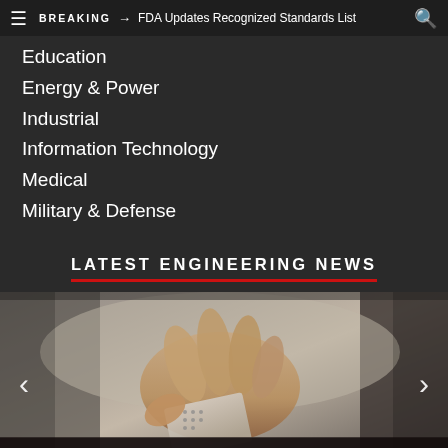BREAKING → FDA Updates Recognized Standards List
Education
Energy & Power
Industrial
Information Technology
Medical
Military & Defense
LATEST ENGINEERING NEWS
[Figure (photo): Close-up of a hand holding or manipulating a small electronic/circuit board, with blurred background. Navigation arrows on left and right sides.]
WIRELESSLY POWERING IOT WITH 5G NETWORK